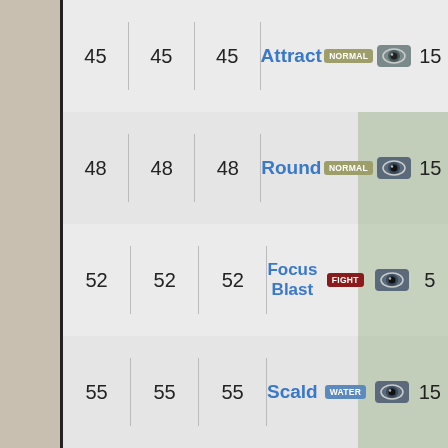| Level | Level | Level | Move | Type | Category | PP |
| --- | --- | --- | --- | --- | --- | --- |
| 45 | 45 | 45 | Attract | NORMAL | Status | 15 |
| 48 | 48 | 48 | Round | NORMAL | Special | 15 |
| 52 | 52 | 52 | Focus Blast | FIGHT | Special | 5 |
| 55 | 55 | 55 | Scald | WATER | Special | 15 |